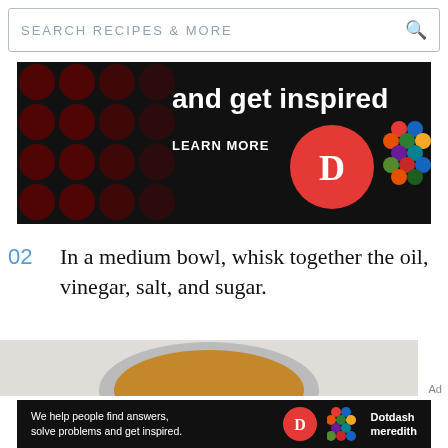SEARCH RECIPES & MORE
[Figure (screenshot): Dark advertisement banner with text 'and get inspired.' and 'LEARN MORE' with Dotdash 'D' logo and colorful Meredith lattice logo on black background with dark red polka dots]
02  In a medium bowl, whisk together the oil, vinegar, salt, and sugar.
[Figure (photo): Top-down photo of a bowl containing a golden-colored liquid (oil/vinegar mixture) on a light background]
Ad
[Figure (screenshot): Dark advertisement banner reading 'We help people find answers, solve problems and get inspired.' with Dotdash D logo and Dotdash Meredith colorful logo on black background]